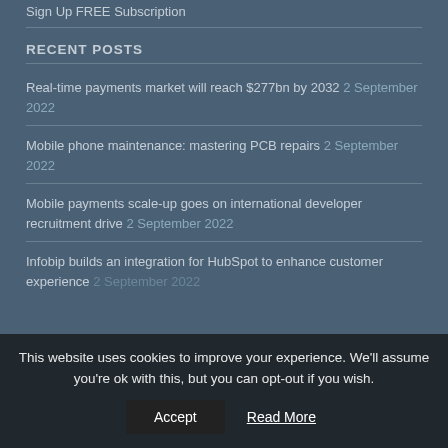Sign Up FREE Subscription
RECENT POSTS
Real-time payments market will reach $277bn by 2032 2 September 2022
Mobile phone maintenance: mastering PCB repairs 2 September 2022
Mobile payments scale-up goes on international developer recruitment drive 2 September 2022
Infobip builds an integration for HubSpot to enhance customer experience 2 September 2022
This website uses cookies to improve your experience. We'll assume you're ok with this, but you can opt-out if you wish. Accept Read More